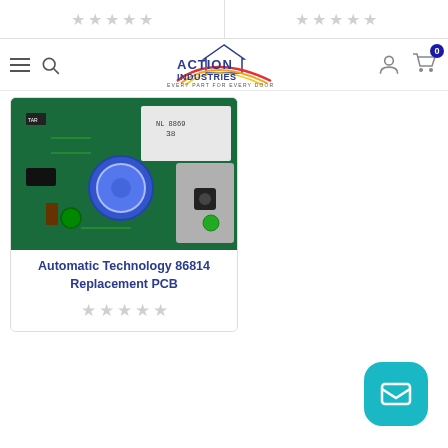[Figure (screenshot): Top strip showing partial product cards with gray star ratings from a previous row]
[Figure (logo): Action Industries logo with house icon, rainbow swoosh, text 'ACTION INDUSTRIES' and tagline 'EVERY PART FOR EVERY DOOR']
[Figure (photo): Photograph of a green circuit board (PCB) replacement part - Automatic Technology 86814 Replacement PCB]
Automatic Technology 86814 Replacement PCB
[Figure (other): Gray star rating display (5 empty stars) below product title]
[Figure (other): Teal chat/email button in bottom right corner with envelope icon]